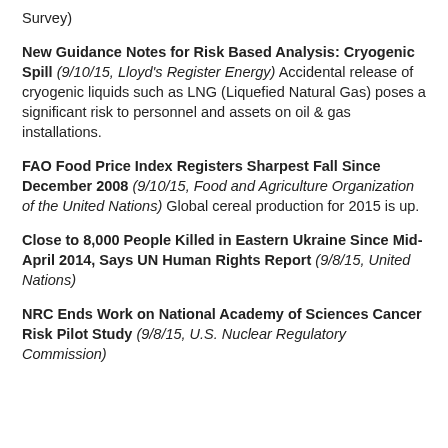Survey)
New Guidance Notes for Risk Based Analysis: Cryogenic Spill (9/10/15, Lloyd's Register Energy) Accidental release of cryogenic liquids such as LNG (Liquefied Natural Gas) poses a significant risk to personnel and assets on oil & gas installations.
FAO Food Price Index Registers Sharpest Fall Since December 2008 (9/10/15, Food and Agriculture Organization of the United Nations) Global cereal production for 2015 is up.
Close to 8,000 People Killed in Eastern Ukraine Since Mid-April 2014, Says UN Human Rights Report (9/8/15, United Nations)
NRC Ends Work on National Academy of Sciences Cancer Risk Pilot Study (9/8/15, U.S. Nuclear Regulatory Commission)